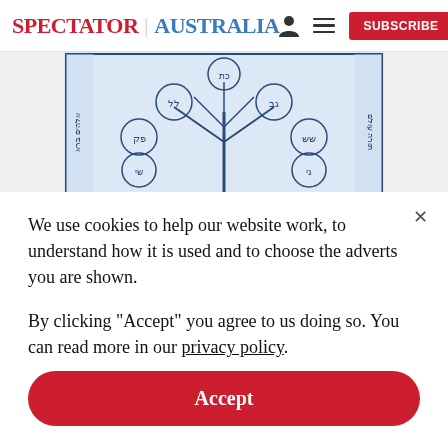SPECTATOR | AUSTRALIA
[Figure (illustration): Hebrew text document or manuscript illustration in blue ink, showing a tree-like structure with circular medallions containing Hebrew text, surrounded by Hebrew script on borders.]
We use cookies to help our website work, to understand how it is used and to choose the adverts you are shown.
By clicking "Accept" you agree to us doing so. You can read more in our privacy policy.